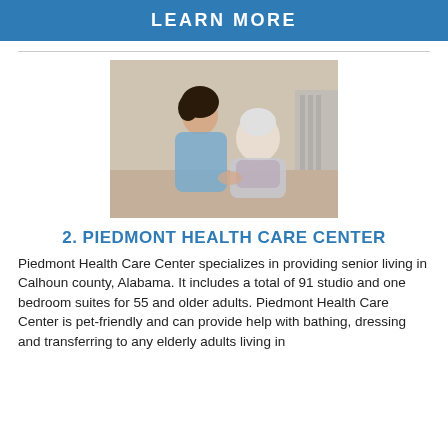LEARN MORE
[Figure (photo): A younger woman caregiver smiling and holding hands with an elderly white-haired woman who is seated and smiling]
2. PIEDMONT HEALTH CARE CENTER
Piedmont Health Care Center specializes in providing senior living in Calhoun county, Alabama. It includes a total of 91 studio and one bedroom suites for 55 and older adults. Piedmont Health Care Center is pet-friendly and can provide help with bathing, dressing and transferring to any elderly adults living in